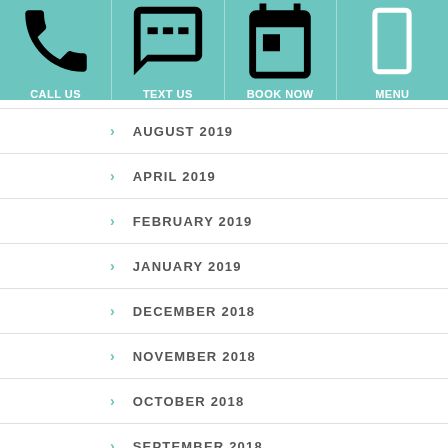CALL US | TEXT US | BOOK NOW | MENU
AUGUST 2019
APRIL 2019
FEBRUARY 2019
JANUARY 2019
DECEMBER 2018
NOVEMBER 2018
OCTOBER 2018
SEPTEMBER 2018